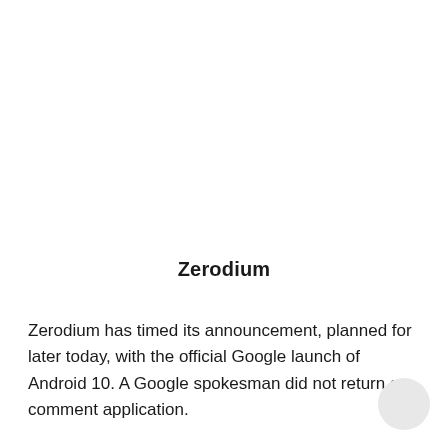Zerodium
Zerodium has timed its announcement, planned for later today, with the official Google launch of Android 10. A Google spokesman did not return a comment application.